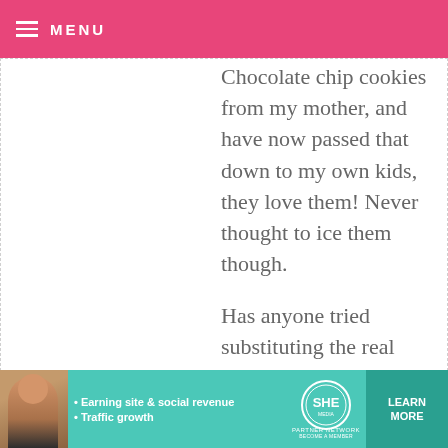MENU
Chocolate chip cookies from my mother, and have now passed that down to my own kids, they love them! Never thought to ice them though.

Has anyone tried substituting the real maple syrup for the flavoring yet?
MRSBLOCKO — OCTOBER 8, 2009 @ 6:50 PM
REPLY

I too just found this recipe. I wrote about it here:
[Figure (infographic): SHE Partner Network advertisement banner with woman photo, bullet points about earning site & social revenue and traffic growth, SHE logo, and LEARN MORE button]